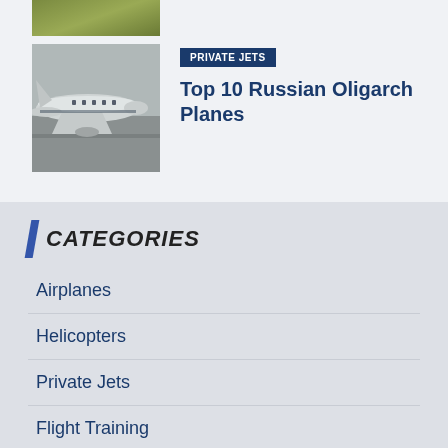[Figure (photo): Cropped top portion of a grassy/green surface image]
[Figure (photo): A private jet / commercial aircraft taxiing on a runway, side view in gray tones]
PRIVATE JETS
Top 10 Russian Oligarch Planes
CATEGORIES
Airplanes
Helicopters
Private Jets
Flight Training
Travel